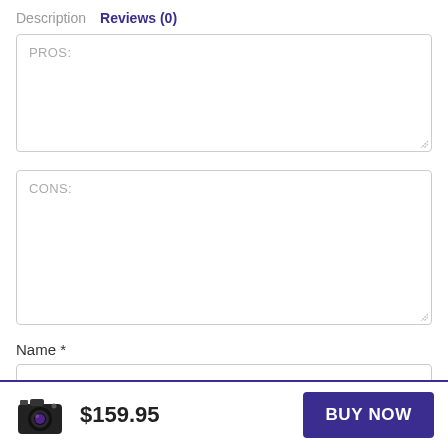Description   Reviews (0)
PROS:
CONS:
Name *
$159.95
BUY NOW